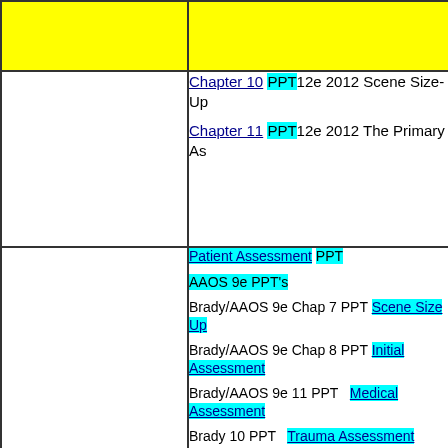| (yellow) | (yellow) |
|  | Chapter 10 PPT 12e 2012 Scene Size-Up
Chapter 11 PPT 12e 2012 The Primary As |
|  | Patient Assessment PPT
AAOS 9e PPT's
Brady/AAOS 9e Chap 7 PPT Scene Size Up
Brady/AAOS 9e Chap 8 PPT Initial Assessment
Brady/AAOS 9e 11 PPT Medical Assessment
Brady 10 PPT Trauma Assessment
Brady/AAOS 9e 12 PPT Ongoing Assessment |
|  |  |